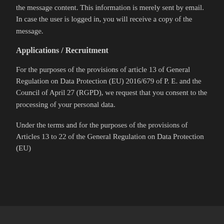the message content. This information is merely sent by email. In case the user is logged in, you will receive a copy of the message.
Applications / Recruitment
For the purposes of the provisions of article 13 of General Regulation on Data Protection (EU) 2016/679 of P. E. and the Council of April 27 (RGPD), we request that you consent to the processing of your personal data.
Under the terms and for the purposes of the provisions of Articles 13 to 22 of the General Regulation on Data Protection (EU)